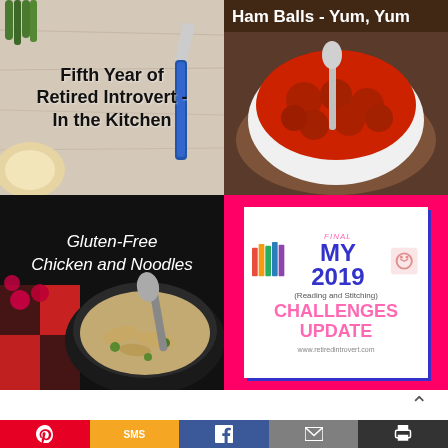[Figure (photo): Blog post thumbnail: Fifth Year of Retired Introvert - In the Kitchen, showing bread and cutting board background]
[Figure (photo): Blog post thumbnail: Ham Balls - Yum, Yum, showing a bowl of ham balls in red sauce]
[Figure (photo): Blog post thumbnail: Gluten-Free Chicken and Noodles, showing a dark bowl of chicken noodle soup]
[Figure (infographic): My Final 2019 (Reading and Stitching) Challenges Update graphic with pink background, white card, blue accent, book icons]
[Figure (infographic): Social sharing bar with Pinterest, SMS, Facebook, Email, and Print buttons]